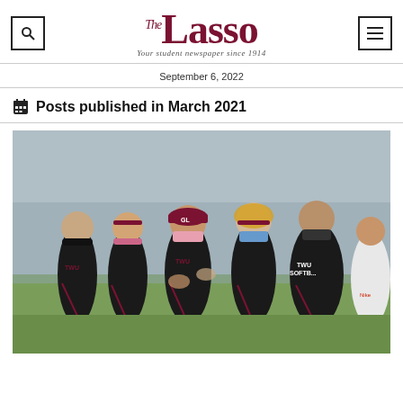The Lasso – Your student newspaper since 1914
September 6, 2022
Posts published in March 2021
[Figure (photo): TWU Softball team players wearing dark maroon and black uniforms with masks, standing together on an outdoor field]